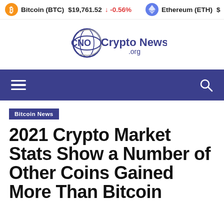Bitcoin (BTC) $19,761.52 ↓ -0.56%   Ethereum (ETH) $
[Figure (logo): Crypto News .org logo with stylized CNO icon and planet/orbit graphic]
[Figure (other): Navigation bar with hamburger menu icon on left and search icon on right, dark blue/purple background]
Bitcoin News
2021 Crypto Market Stats Show a Number of Other Coins Gained More Than Bitcoin